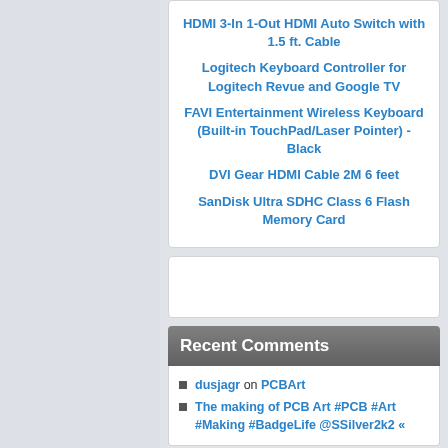HDMI 3-In 1-Out HDMI Auto Switch with 1.5 ft. Cable
Logitech Keyboard Controller for Logitech Revue and Google TV
FAVI Entertainment Wireless Keyboard (Built-in TouchPad/Laser Pointer) - Black
DVI Gear HDMI Cable 2M 6 feet
SanDisk Ultra SDHC Class 6 Flash Memory Card
Recent Comments
dusjagr on PCBArt
The making of PCB Art #PCB #Art #Making #BadgeLife @SSilver2k2 «